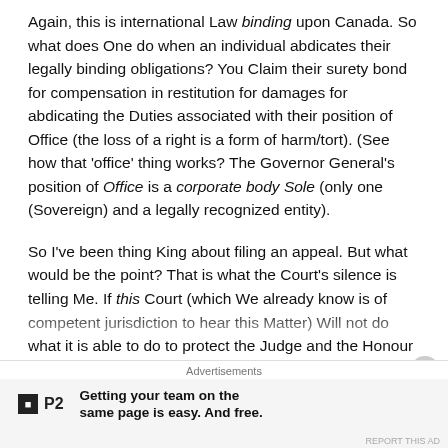Again, this is international Law binding upon Canada. So what does One do when an individual abdicates their legally binding obligations? You Claim their surety bond for compensation in restitution for damages for abdicating the Duties associated with their position of Office (the loss of a right is a form of harm/tort). (See how that 'office' thing works? The Governor General's position of Office is a corporate body Sole (only one (Sovereign) and a legally recognized entity).
So I've been thing King about filing an appeal. But what would be the point? That is what the Court's silence is telling Me. If this Court (which We already know is of competent jurisdiction to hear this Matter) Will not do what it is able to do to protect the Judge and the Honour of the Crown, then maybe they don't Wish to absolve the Judge of her crimes?
Advertisements
[Figure (other): P2 advertisement banner: Getting your team on the same page is easy. And free.]